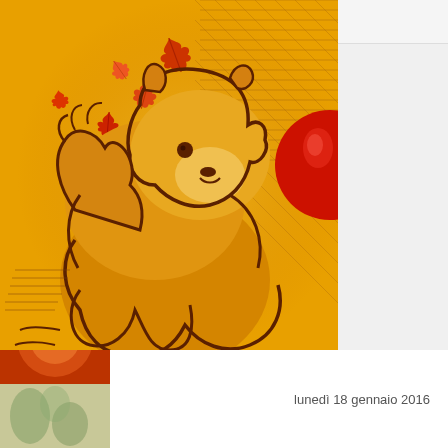Blogger navigation bar with search box and More button
[Figure (illustration): Left sidebar with decorative textile/fabric pattern images in warm red, orange, and earth tones]
[Figure (illustration): Large yellow-orange illustration of Winnie the Pooh bear character with autumn maple leaves in red and orange scattered around, dark brown sketch-style outlines on golden background]
lunedì 18 gennaio 2016